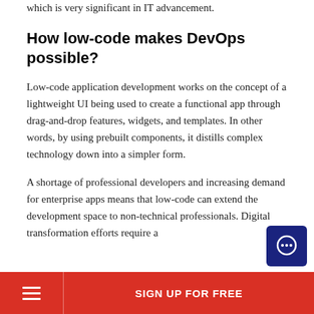which is very significant in IT advancement.
How low-code makes DevOps possible?
Low-code application development works on the concept of a lightweight UI being used to create a functional app through drag-and-drop features, widgets, and templates. In other words, by using prebuilt components, it distills complex technology down into a simpler form.
A shortage of professional developers and increasing demand for enterprise apps means that low-code can extend the development space to non-technical professionals. Digital transformation efforts require a
SIGN UP FOR FREE